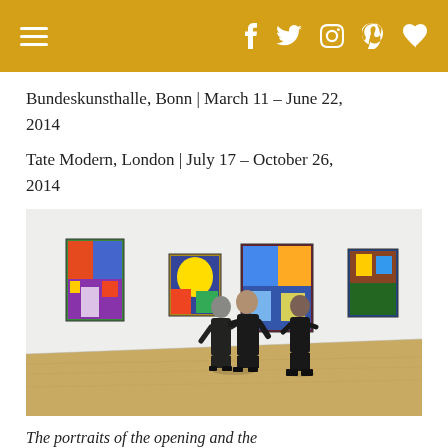navigation header with hamburger menu and social icons (f, twitter, instagram, pinterest, heart)
Bundeskunsthalle, Bonn | March 11 – June 22, 2014
Tate Modern, London | July 17 – October 26, 2014
[Figure (photo): Three visitors in a white gallery room viewing colorful paintings hung on the walls. Two people stand together in the center, one in black dress and one in dark suit, and a third person in black stands to the right. Four paintings are visible on the white walls, wooden floor below.]
The portraits of the opening and the last picture at this post belong to the